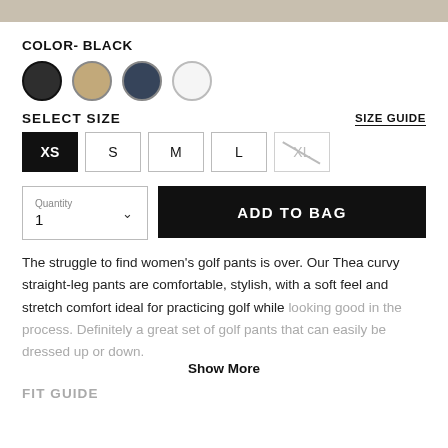[Figure (other): Top banner image strip in beige/tan color]
COLOR- BLACK
[Figure (other): Color swatches: black (selected), tan, navy, white circles]
SELECT SIZE
SIZE GUIDE
[Figure (other): Size selector buttons: XS (selected/black), S, M, L, XL (crossed out/unavailable)]
[Figure (other): Quantity selector box showing 1 with dropdown arrow, and ADD TO BAG button]
The struggle to find women's golf pants is over. Our Thea curvy straight-leg pants are comfortable, stylish, with a soft feel and stretch comfort ideal for practicing golf while looking good in the process. Definitely a great set of golf pants that can easily be dressed up or down.
Show More
FIT GUIDE